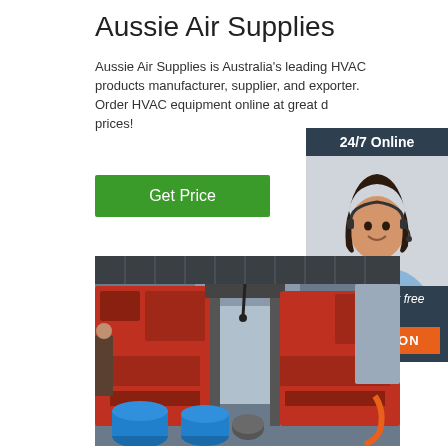Aussie Air Supplies
Aussie Air Supplies is Australia's leading HVAC products manufacturer, supplier, and exporter. Order HVAC equipment online at great discounted prices!
[Figure (other): Green 'Get Price' button]
[Figure (other): 24/7 Online chat panel with female customer service representative wearing headset. Contains text '24/7 Online', 'Click here for free chat !', and orange 'QUOTATION' button.]
[Figure (photo): Industrial factory floor photo showing red and grey heavy machinery (band saw or cutting equipment) with blue barrels/drums in foreground.]